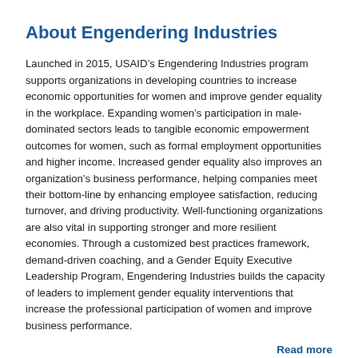About Engendering Industries
Launched in 2015, USAID's Engendering Industries program supports organizations in developing countries to increase economic opportunities for women and improve gender equality in the workplace. Expanding women's participation in male-dominated sectors leads to tangible economic empowerment outcomes for women, such as formal employment opportunities and higher income. Increased gender equality also improves an organization's business performance, helping companies meet their bottom-line by enhancing employee satisfaction, reducing turnover, and driving productivity. Well-functioning organizations are also vital in supporting stronger and more resilient economies. Through a customized best practices framework, demand-driven coaching, and a Gender Equity Executive Leadership Program, Engendering Industries builds the capacity of leaders to implement gender equality interventions that increase the professional participation of women and improve business performance.
Read more